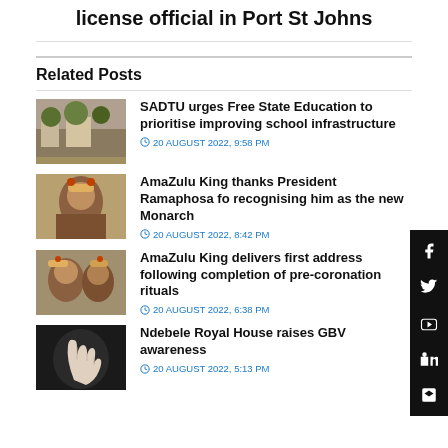license official in Port St Johns
Related Posts
[Figure (photo): School building exterior with trees]
SADTU urges Free State Education to prioritise improving school infrastructure
20 AUGUST 2022, 9:58 PM
[Figure (photo): AmaZulu King portrait]
AmaZulu King thanks President Ramaphosa for recognising him as the new Monarch
20 AUGUST 2022, 8:42 PM
[Figure (photo): AmaZulu King with others]
AmaZulu King delivers first address following completion of pre-coronation rituals
20 AUGUST 2022, 6:38 PM
[Figure (photo): Hand raised against dark background]
Ndebele Royal House raises GBV awareness
20 AUGUST 2022, 5:13 PM